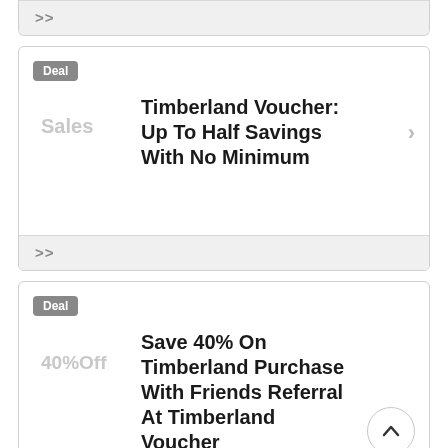>>
Deal — Timberland Voucher: Up To Half Savings With No Minimum (Sales)
>>
Deal — Save 40% On Timberland Purchase With Friends Referral At Timberland Voucher (40% Off)